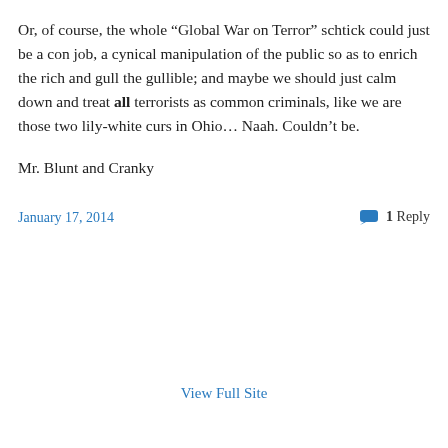Or, of course, the whole “Global War on Terror” schtick could just be a con job, a cynical manipulation of the public so as to enrich the rich and gull the gullible; and maybe we should just calm down and treat all terrorists as common criminals, like we are those two lily-white curs in Ohio… Naah. Couldn’t be.
Mr. Blunt and Cranky
January 17, 2014
1 Reply
View Full Site